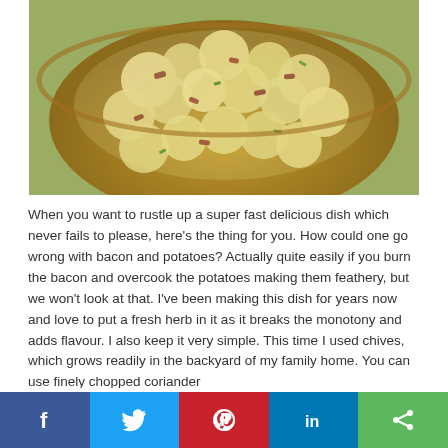[Figure (photo): A bowl of potato salad with bacon pieces and fresh herbs, served in a wooden bowl, photographed from above at an angle.]
When you want to rustle up a super fast delicious dish which never fails to please, here's the thing for you. How could one go wrong with bacon and potatoes? Actually quite easily if you burn the bacon and overcook the potatoes making them feathery, but we won't look at that. I've been making this dish for years now and love to put a fresh herb in it as it breaks the monotony and adds flavour. I also keep it very simple. This time I used chives, which grows readily in the backyard of my family home. You can use finely chopped coriander
f  [twitter]  [pinterest]  in  <